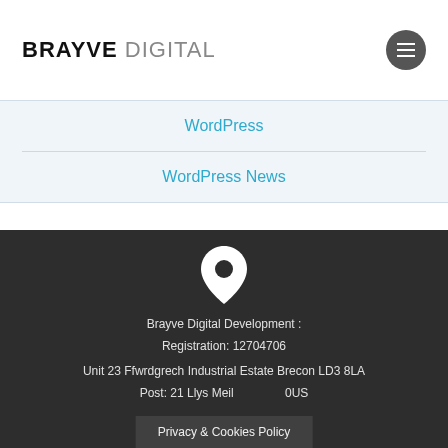BRAYVE DIGITAL
WordPress
WordPress News
[Figure (illustration): White map pin / location marker icon on dark background]
Brayve Digital Development :
Registration: 12704706
Unit 23 Ffwrdgrech Industrial Estate Brecon LD3 8LA
Post: 21 Llys Meil... 0US
Privacy & Cookies Policy